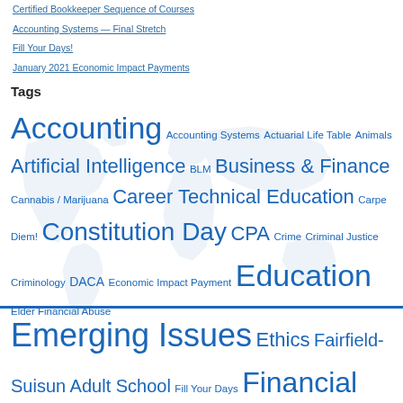Certified Bookkeeper Sequence of Courses
Accounting Systems — Final Stretch
Fill Your Days!
January 2021 Economic Impact Payments
Tags
Accounting Accounting Systems Actuarial Life Table Animals Artificial Intelligence BLM Business & Finance Cannabis / Marijuana Career Technical Education Carpe Diem! Constitution Day CPA Crime Criminal Justice Criminology DACA Economic Impact Payment Education Elder Financial Abuse Emerging Issues Ethics Fairfield-Suisun Adult School Fill Your Days Financial Crimes Franchise Tax Board IRS Laws & Legal Issues License Loss